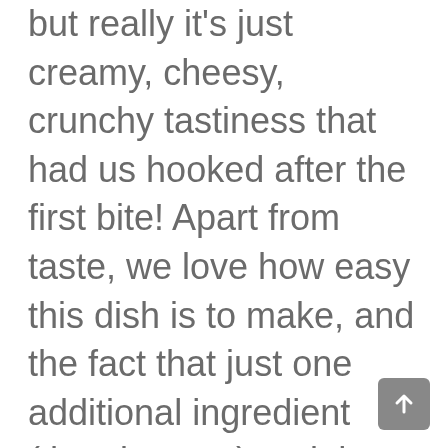but really it's just creamy, cheesy, crunchy tastiness that had us hooked after the first bite! Apart from taste, we love how easy this dish is to make, and the fact that just one additional ingredient (the pie crust) and the act of baking this completely transforms a staple. We still love a traditional chicken salad, but man,